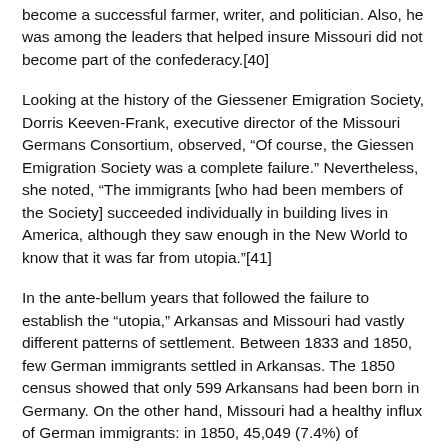become a successful farmer, writer, and politician. Also, he was among the leaders that helped insure Missouri did not become part of the confederacy.[40]
Looking at the history of the Giessener Emigration Society, Dorris Keeven-Frank, executive director of the Missouri Germans Consortium, observed, “Of course, the Giessen Emigration Society was a complete failure.” Nevertheless, she noted, “The immigrants [who had been members of the Society] succeeded individually in building lives in America, although they saw enough in the New World to know that it was far from utopia.”[41]
In the ante-bellum years that followed the failure to establish the “utopia,” Arkansas and Missouri had vastly different patterns of settlement. Between 1833 and 1850, few German immigrants settled in Arkansas. The 1850 census showed that only 599 Arkansans had been born in Germany. On the other hand, Missouri had a healthy influx of German immigrants: in 1850, 45,049 (7.4%) of Missouri’s 605,424 residents had been born in Germany.[42]  It was the second highest percentage among all states.